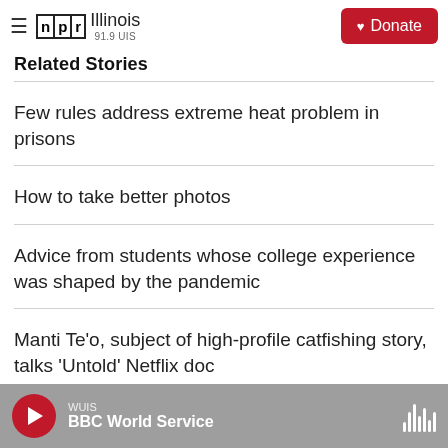NPR Illinois 91.9 UIS | Donate
Related Stories
Few rules address extreme heat problem in prisons
How to take better photos
Advice from students whose college experience was shaped by the pandemic
Manti Te'o, subject of high-profile catfishing story, talks 'Untold' Netflix doc
WUIS | BBC World Service